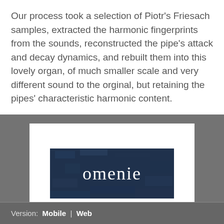Our process took a selection of Piotr's Friesach samples, extracted the harmonic fingerprints from the sounds, reconstructed the pipe's attack and decay dynamics, and rebuilt them into this lovely organ, of much smaller scale and very different sound to the orginal, but retaining the pipes' characteristic harmonic content.
[Figure (logo): Omenie logo — white serif text reading 'omenie' on a dark blue-black textured background, displayed inside a white card on a gray background section.]
Version: Mobile | Web